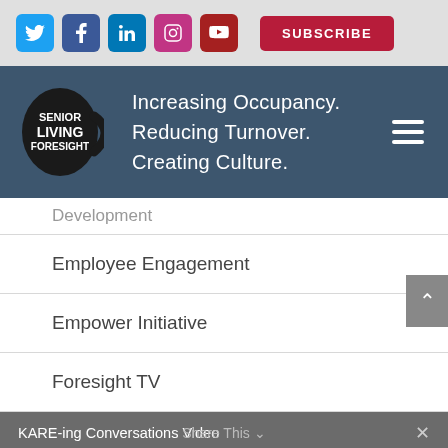[Figure (screenshot): Social media icons row: Twitter (blue), Facebook (dark blue), LinkedIn (blue), Instagram (pink), YouTube (dark red), and a SUBSCRIBE button in crimson]
[Figure (logo): Senior Living Foresight logo: black mug with text 'SENIOR LIVING FORESIGHT' next to tagline 'Increasing Occupancy. Reducing Turnover. Creating Culture.' on dark blue-grey background, with hamburger menu icon]
Development
Employee Engagement
Empower Initiative
Foresight TV
KARE-ing Conversations Video